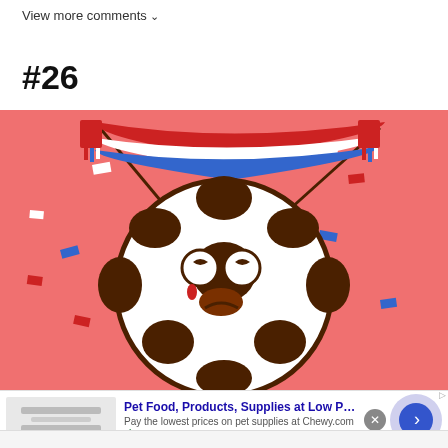View more comments ∨
#26
[Figure (illustration): Cartoon illustration of a soccer ball with eyes and a crying expression, holding up a red, white and blue striped scarf/flag against a coral-pink background with confetti pieces scattered around]
Pet Food, Products, Supplies at Low Prices -
Pay the lowest prices on pet supplies at Chewy.com
chewy.com